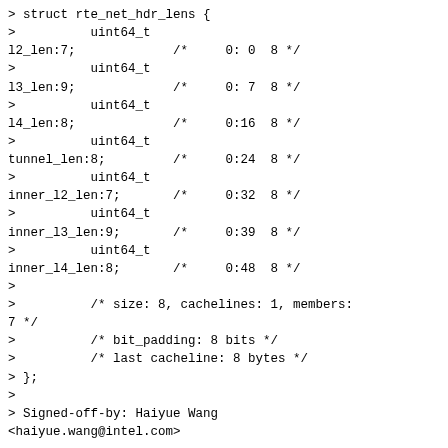> struct rte_net_hdr_lens {
>          uint64_t
l2_len:7;             /*     0: 0  8 */
>          uint64_t
l3_len:9;             /*     0: 7  8 */
>          uint64_t
l4_len:8;             /*     0:16  8 */
>          uint64_t
tunnel_len:8;         /*     0:24  8 */
>          uint64_t
inner_l2_len:7;       /*     0:32  8 */
>          uint64_t
inner_l3_len:9;       /*     0:39  8 */
>          uint64_t
inner_l4_len:8;       /*     0:48  8 */
>
>          /* size: 8, cachelines: 1, members:
7 */
>          /* bit_padding: 8 bits */
>          /* last cacheline: 8 bytes */
> };
>
> Signed-off-by: Haiyue Wang <haiyue.wang@intel.com>
Bitfields are slow to access, compiler has to do mask/shift operations.
And there is no requirement that structure be the same size.
There is no requirement that fields be